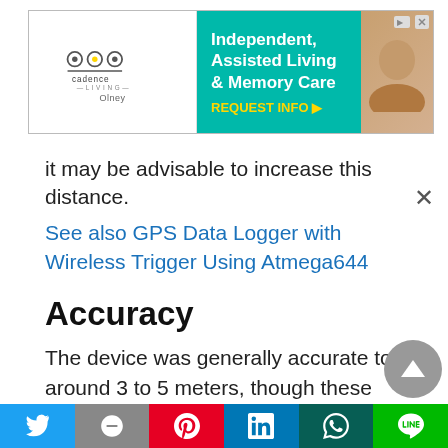[Figure (other): Advertisement banner for Cadence Living Olney — Independent, Assisted Living & Memory Care with REQUEST INFO button]
it may be advisable to increase this distance.
See also GPS Data Logger with Wireless Trigger Using Atmega644
Accuracy
The device was generally accurate to around 3 to 5 meters, though these distances can vary based on the current weather conditions, especially activity in the ionosphere. We also noticed that there was some drift in the coordinates, where the